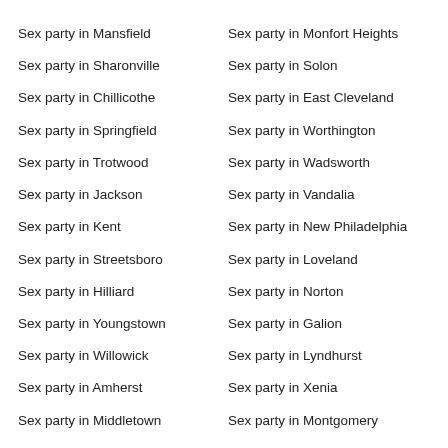Sex party in Mansfield
Sex party in Monfort Heights
Sex party in Sharonville
Sex party in Solon
Sex party in Chillicothe
Sex party in East Cleveland
Sex party in Springfield
Sex party in Worthington
Sex party in Trotwood
Sex party in Wadsworth
Sex party in Jackson
Sex party in Vandalia
Sex party in Kent
Sex party in New Philadelphia
Sex party in Streetsboro
Sex party in Loveland
Sex party in Hilliard
Sex party in Norton
Sex party in Youngstown
Sex party in Galion
Sex party in Willowick
Sex party in Lyndhurst
Sex party in Amherst
Sex party in Xenia
Sex party in Middletown
Sex party in Montgomery
Sex party in Canton
Sex party in Westlake